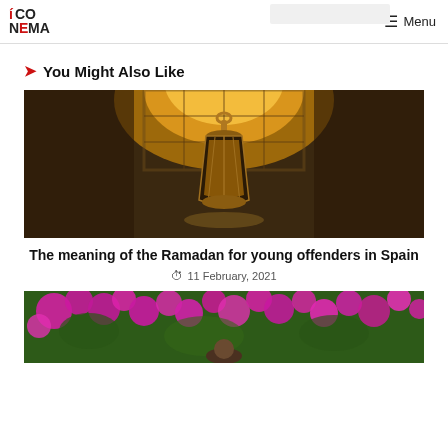ICONEMA — Menu
You Might Also Like
[Figure (photo): A decorative Ramadan lantern glowing warmly in front of an ornate window with geometric patterns]
The meaning of the Ramadan for young offenders in Spain
11 February, 2021
[Figure (photo): A person partially visible below colorful pink/magenta flowering bougainvillea bushes]